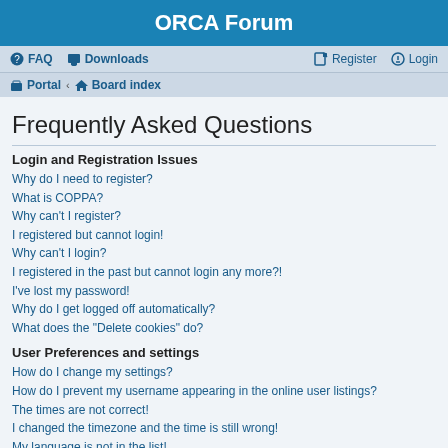ORCA Forum
FAQ  Downloads  Register  Login
Portal · Board index
Frequently Asked Questions
Login and Registration Issues
Why do I need to register?
What is COPPA?
Why can't I register?
I registered but cannot login!
Why can't I login?
I registered in the past but cannot login any more?!
I've lost my password!
Why do I get logged off automatically?
What does the "Delete cookies" do?
User Preferences and settings
How do I change my settings?
How do I prevent my username appearing in the online user listings?
The times are not correct!
I changed the timezone and the time is still wrong!
My language is not in the list!
What are the images next to my username?